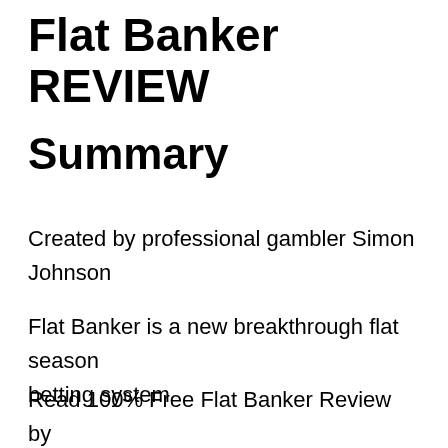Flat Banker REVIEW
Summary
Created by professional gambler Simon Johnson
Flat Banker is a new breakthrough flat season betting system
Read 100% Free Flat Banker Review by Scamorno Team